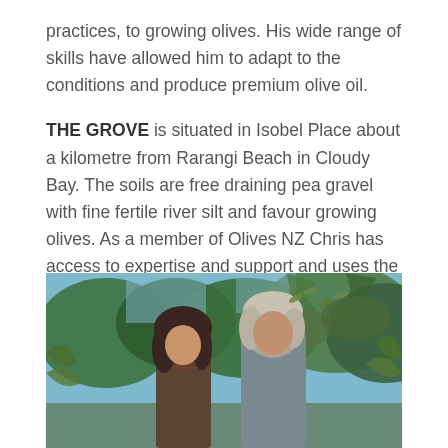practices, to growing olives. His wide range of skills have allowed him to adapt to the conditions and produce premium olive oil.
THE GROVE is situated in Isobel Place about a kilometre from Rarangi Beach in Cloudy Bay. The soils are free draining pea gravel with fine fertile river silt and favour growing olives. As a member of Olives NZ Chris has access to expertise and support and uses the certification of his oils to ensure they meet rigorous testing and provide consumer confidence. Olives are cold pressed at the Marlborough Olive Press within 24 hours of harvest in late June.
[Figure (photo): Two people standing outdoors among olive trees, photographed from the torso up. Background shows olive trees and sky.]